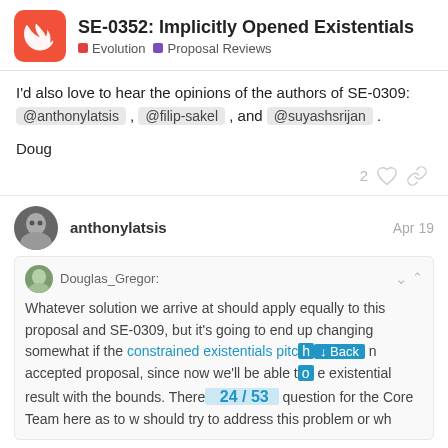SE-0352: Implicitly Opened Existentials | Evolution | Proposal Reviews
I'd also love to hear the opinions of the authors of SE-0309: @anthonylatsis , @filip-sakel , and @suyashsrijan .
Doug
2 ♡ 🔗
anthonylatsis  Apr 19
Douglas_Gregor: Whatever solution we arrive at should apply equally to this proposal and SE-0309, but it's going to end up changing somewhat if the constrained existentials pitch becomes an accepted proposal, since now we'll be able to type erase existential result with the bounds. There's also a question for the Core Team here as to whether they should try to address this problem or wh...